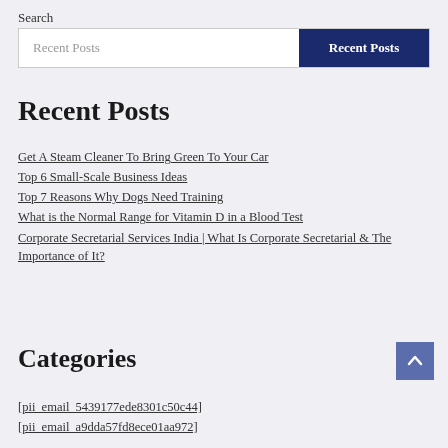Search
Recent Posts | Recent Posts
Recent Posts
Get A Steam Cleaner To Bring Green To Your Car
Top 6 Small-Scale Business Ideas
Top 7 Reasons Why Dogs Need Training
What is the Normal Range for Vitamin D in a Blood Test
Corporate Secretarial Services India | What Is Corporate Secretarial & The Importance of It?
Categories
[pii_email_5439177ede8301c50c44]
[pii_email_a9dda57fd8ece01aa972]